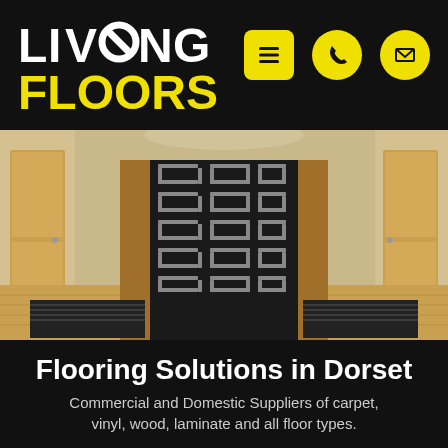[Figure (logo): Living Floors logo — LIVING in white bold text with stylized O, FLOORS in yellow bold text]
[Figure (infographic): Three navigation icons: yellow square menu icon (hamburger), yellow circle phone icon, yellow circle envelope/email icon]
[Figure (photo): Interior hallway/staircase photo showing stairs covered with a bold black and white geometric patterned carpet, wooden floors visible, double doors on right, natural light]
Flooring Solutions in Dorset
Commercial and Domestic Suppliers of carpet, vinyl, wood, laminate and all floor types.